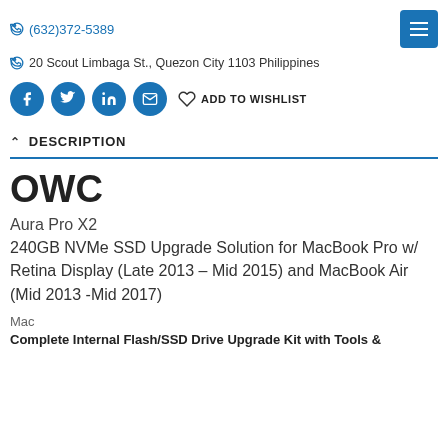(632)372-5389
20 Scout Limbaga St., Quezon City 1103 Philippines
ADD TO WISHLIST
DESCRIPTION
OWC
Aura Pro X2
240GB NVMe SSD Upgrade Solution for MacBook Pro w/ Retina Display (Late 2013 – Mid 2015) and MacBook Air (Mid 2013 -Mid 2017)
Mac
Complete Internal Flash/SSD Drive Upgrade Kit with Tools &